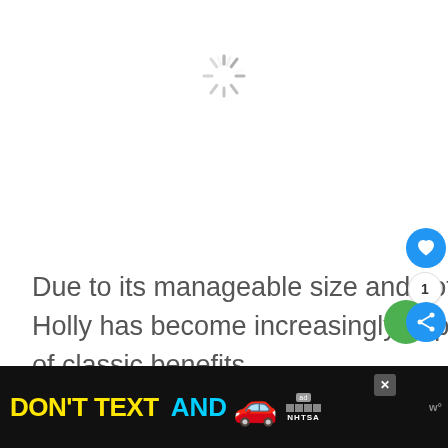[Figure (other): A spinning/loading indicator (progress spinner) centered near the top of the page, gray radial lines forming a circle]
Due to its manageable size and soft, flexible foliage, the Soft Touch Holly has become increasingly popular due to its unique combination of classic benefits.
[Figure (screenshot): A black advertisement banner at the bottom reading DON'T TEXT AND with a red car emoji, ad badge, and NHTSA logo]
[Figure (other): Blue circular like/heart button with count of 1 and blue share button on right side, with green circle decoration]